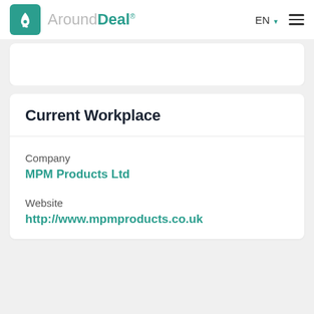[Figure (logo): AroundDeal logo with teal rocket icon and brand name]
Current Workplace
Company
MPM Products Ltd
Website
http://www.mpmproducts.co.uk